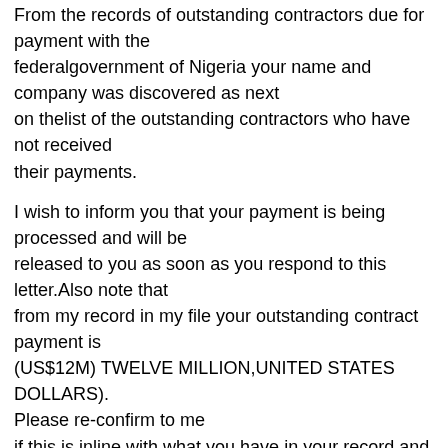From the records of outstanding contractors due for payment with the federalgovernment of Nigeria your name and company was discovered as next on thelist of the outstanding contractors who have not received their payments.
I wish to inform you that your payment is being processed and will be released to you as soon as you respond to this letter.Also note that from my record in my file your outstanding contract payment is (US$12M) TWELVE MILLION,UNITED STATES DOLLARS). Please re-confirm to me if this is inline with what you have in your record and also re-confirm to me the followings:
1) Your full name.
2) Your Telephone, fax and mobile number
3) company name position and address